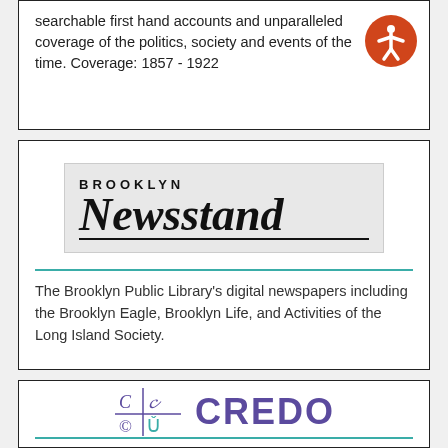searchable first hand accounts and unparalleled coverage of the politics, society and events of the time. Coverage: 1857 - 1922
[Figure (logo): Brooklyn Newsstand logo — BROOKLYN in small caps above large italic serif Newsstand text, on grey background]
The Brooklyn Public Library's digital newspapers including the Brooklyn Eagle, Brooklyn Life, and Activities of the Long Island Society.
[Figure (logo): Credo logo — stylized C/C/c/C letterform grid icon in purple/teal next to bold CREDO text in purple]
Research a wide variety of topics and images. A